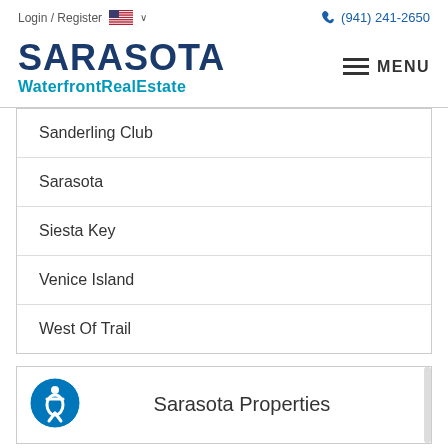Login / Register  🇺🇸 ∨   (941) 241-2650
SARASOTA WaterfrontRealEstate
Sanderling Club
Sarasota
Siesta Key
Venice Island
West Of Trail
Sarasota Properties